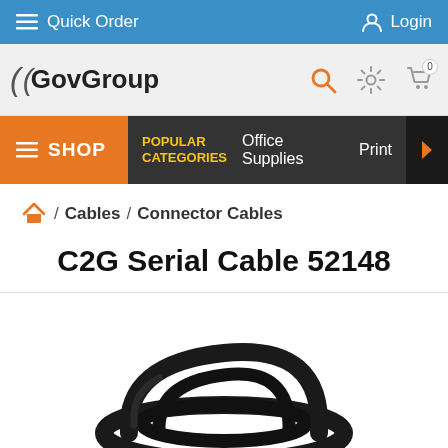Quick Order | Login
[Figure (logo): GovGroup logo with stylized bracket on left]
SHOP | POPULAR CATEGORIES | Office Supplies | Print
/ Cables / Connector Cables
C2G Serial Cable 52148
[Figure (photo): Black coiled serial cable (C2G Serial Cable 52148) on white background]